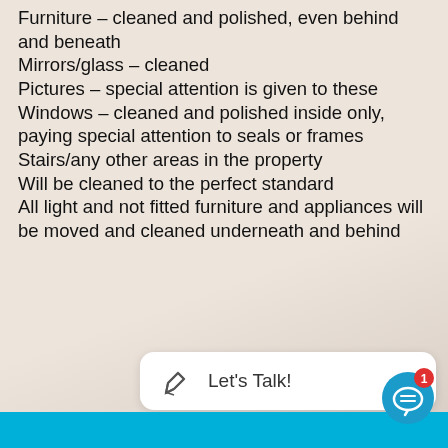Furniture – cleaned and polished, even behind and beneath
Mirrors/glass – cleaned
Pictures – special attention is given to these
Windows – cleaned and polished inside only, paying special attention to seals or frames
Stairs/any other areas in the property
Will be cleaned to the perfect standard
All light and not fitted furniture and appliances will be moved and cleaned underneath and behind
Let's Talk!